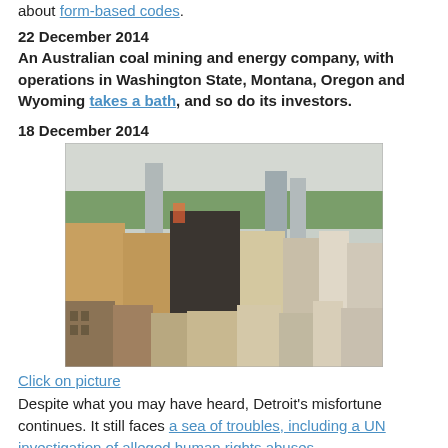about form-based codes.
22 December 2014
An Australian coal mining and energy company, with operations in Washington State, Montana, Oregon and Wyoming takes a bath, and so do its investors.
18 December 2014
[Figure (photo): Aerial cityscape photo showing mixed urban buildings, some dilapidated, with trees and taller buildings in the background — Detroit skyline.]
Click on picture
Despite what you may have heard, Detroit's misfortune continues. It still faces a sea of troubles, including a UN investigation of alleged human rights abuses.